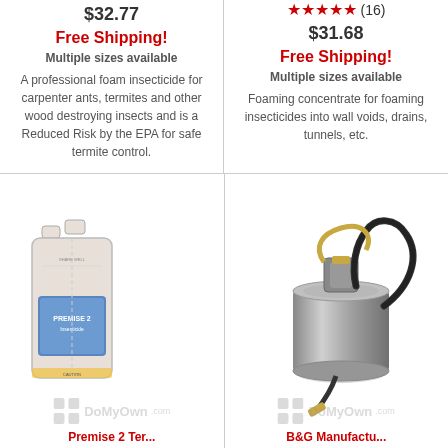$32.77
Free Shipping!
Multiple sizes available
A professional foam insecticide for carpenter ants, termites and other wood destroying insects and is a Reduced Risk by the EPA for safe termite control.
★★★★★ (16)
$31.68
Free Shipping!
Multiple sizes available
Foaming concentrate for foaming insecticides into wall voids, drains, tunnels, etc.
[Figure (photo): Premise 2 Insecticide dual-chamber bottle with blue label]
[Figure (photo): B&G stainless steel foaming sprayer with hose and brass nozzle tip]